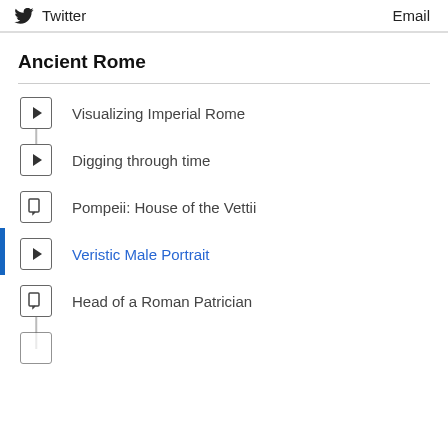Twitter  Email
Ancient Rome
Visualizing Imperial Rome
Digging through time
Pompeii: House of the Vettii
Veristic Male Portrait
Head of a Roman Patrician